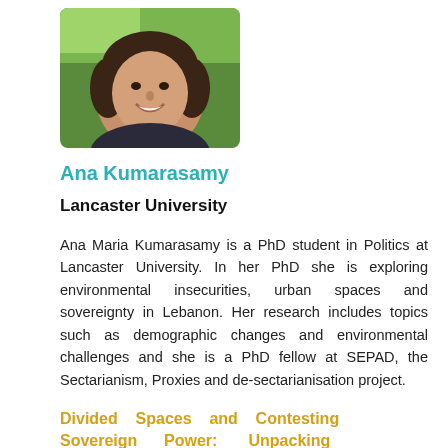[Figure (photo): Headshot photo of Ana Kumarasamy, a woman smiling, outdoors with green background]
Ana Kumarasamy
Lancaster University
Ana Maria Kumarasamy is a PhD student in Politics at Lancaster University. In her PhD she is exploring environmental insecurities, urban spaces and sovereignty in Lebanon. Her research includes topics such as demographic changes and environmental challenges and she is a PhD fellow at SEPAD, the Sectarianism, Proxies and de-sectarianisation project.
Divided Spaces and Contesting Sovereign Power: Unpacking